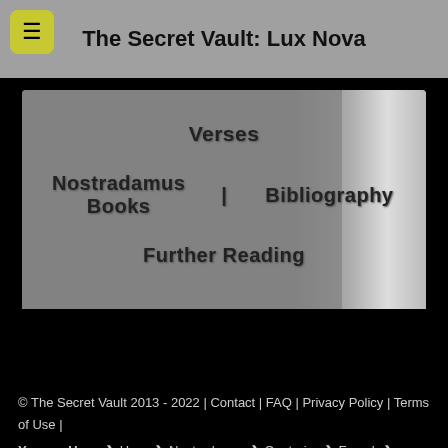The Secret Vault: Lux Nova
[Figure (screenshot): Navigation menu overlay on a dark background image showing links: Verses, Nostradamus Books | Bibliography, Further Reading]
© The Secret Vault 2013 - 2022 | Contact | FAQ | Privacy Policy | Terms of Use | You are Here: ❯ Home❯ Nostradamus ❯ Centuries ❯ French ❯ Century 10 ❯ Verse 5